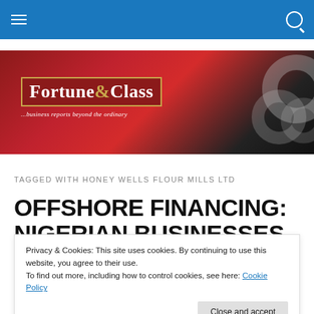[Figure (screenshot): Website navigation bar with blue background, hamburger menu icon on left and search icon on right]
[Figure (logo): Fortune & Class logo banner with tagline '...business reports beyond the ordinary' on dark red background with geometric ring decoration]
TAGGED WITH HONEY WELLS FLOUR MILLS LTD
OFFSHORE FINANCING: NIGERIAN BUSINESSES
Privacy & Cookies: This site uses cookies. By continuing to use this website, you agree to their use.
To find out more, including how to control cookies, see here: Cookie Policy
...financing solutions for